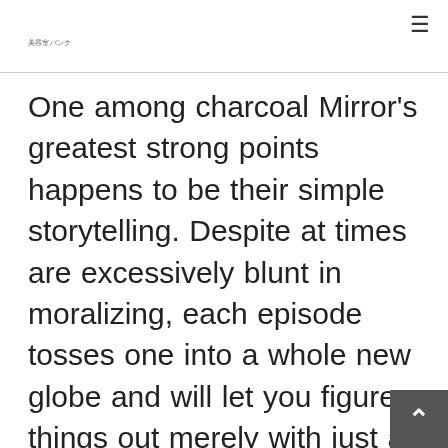美容室バンク
One among charcoal Mirror's greatest strong points happens to be their simple storytelling. Despite at times are excessively blunt in moralizing, each episode tosses one into a whole new globe and will let you figure things out merely with just a few snippets of information through the setting and characters. If Amy and Frank satisfy, these people see any time the company's relationship is ready to get rid of within their O...